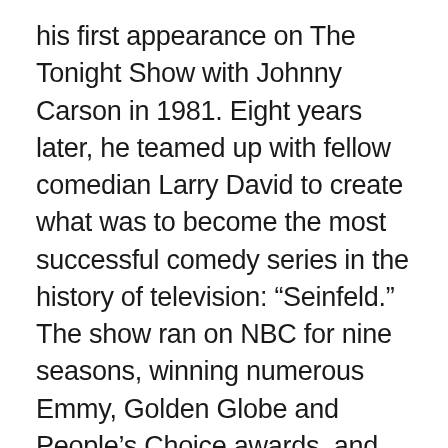his first appearance on The Tonight Show with Johnny Carson in 1981. Eight years later, he teamed up with fellow comedian Larry David to create what was to become the most successful comedy series in the history of television: “Seinfeld.” The show ran on NBC for nine seasons, winning numerous Emmy, Golden Globe and People’s Choice awards, and was named the greatest television show of all time in 2009 by TV Guide, and in 2012 was identified as the best sitcom ever in a 60 Minutes/Vanity Fair poll.
His latest Emmy nominated Netflix projects include “Jerry Before Seinfeld” and “23 Hours to Kill” along with the highly acclaimed web